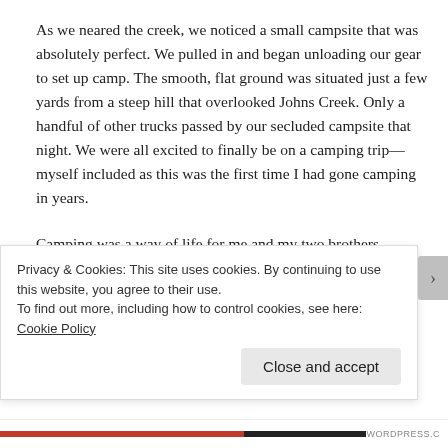As we neared the creek, we noticed a small campsite that was absolutely perfect. We pulled in and began unloading our gear to set up camp. The smooth, flat ground was situated just a few yards from a steep hill that overlooked Johns Creek. Only a handful of other trucks passed by our secluded campsite that night. We were all excited to finally be on a camping trip—myself included as this was the first time I had gone camping in years.
Camping was a way of life for me and my two brothers growing up in rural Georgia. During the
Privacy & Cookies: This site uses cookies. By continuing to use this website, you agree to their use.
To find out more, including how to control cookies, see here: Cookie Policy